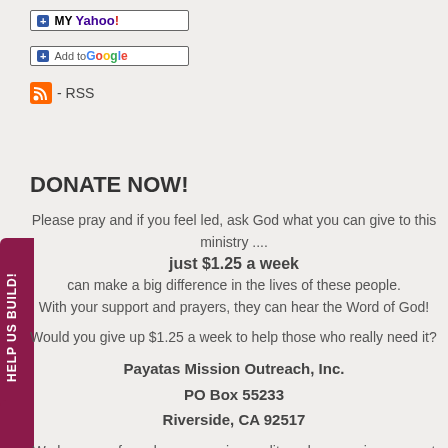[Figure (logo): My Yahoo button - Add to My Yahoo]
[Figure (logo): Add to Google button]
[Figure (logo): RSS feed icon with text '- RSS']
DONATE NOW!
Please pray and if you feel led, ask God what you can give to this ministry ....
just $1.25 a week
can make a big difference in the lives of these people. With your support and prayers, they can hear the Word of God!
Would you give up $1.25 a week to help those who really need it?
Payatas Mission Outreach, Inc.
PO Box 55233
Riverside, CA 92517
We have a safe and secure major credit card processing account through PayPal.
[Figure (other): Red Donate Now button]